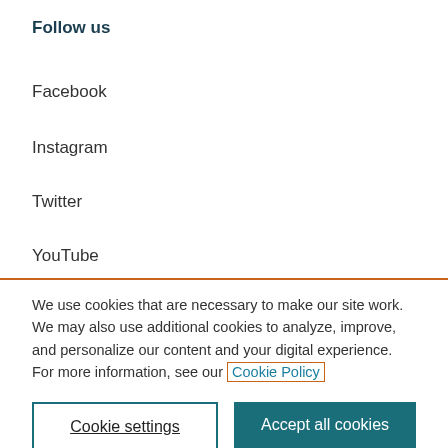Follow us
Facebook
Instagram
Twitter
YouTube
We use cookies that are necessary to make our site work. We may also use additional cookies to analyze, improve, and personalize our content and your digital experience. For more information, see our Cookie Policy
Cookie settings
Accept all cookies